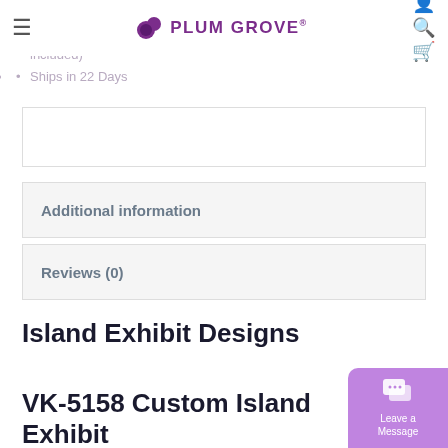Plum Grove navigation bar with hamburger menu, Plum Grove logo, user/search/cart icons
Made in the USA Custom Modular Assembly Custom Construction Locking Hex Key Connections (tool included)
Ships in 22 Days
Additional information
Reviews (0)
Island Exhibit Designs
VK-5158 Custom Island Exhibit